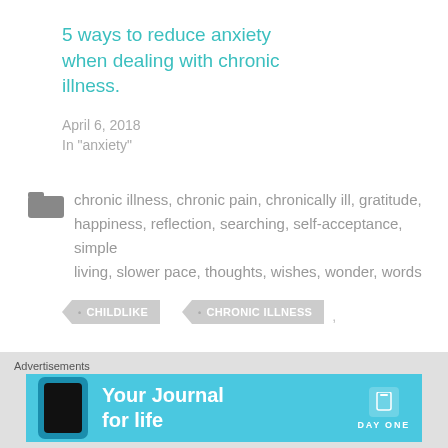5 ways to reduce anxiety when dealing with chronic illness.
April 6, 2018
In "anxiety"
chronic illness, chronic pain, chronically ill, gratitude, happiness, reflection, searching, self-acceptance, simple living, slower pace, thoughts, wishes, wonder, words
CHILDLIKE
CHRONIC ILLNESS
CHRONICALLY ILL
NEW DAY
[Figure (screenshot): Advertisement banner for Day One journal app with teal background, phone image, and text 'Your Journal for life']